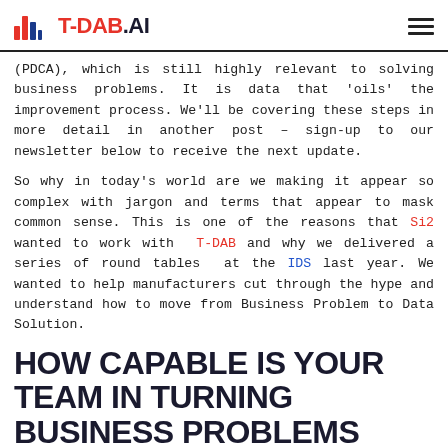T-DAB.AI
(PDCA), which is still highly relevant to solving business problems. It is data that 'oils' the improvement process. We'll be covering these steps in more detail in another post – sign-up to our newsletter below to receive the next update.
So why in today's world are we making it appear so complex with jargon and terms that appear to mask common sense. This is one of the reasons that Si2 wanted to work with T-DAB and why we delivered a series of round tables at the IDS last year. We wanted to help manufacturers cut through the hype and understand how to move from Business Problem to Data Solution.
HOW CAPABLE IS YOUR TEAM IN TURNING BUSINESS PROBLEMS INTO DATA SOLUTIONS?
Talk to any Data Scientist and they will tell you that the most frustrating projects are where they are asked to find patterns in data without any indication of what to